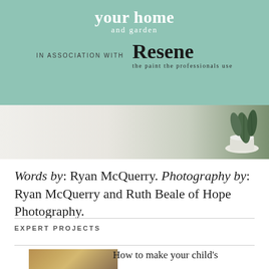[Figure (logo): your home and garden logo in white text on teal/sage green background]
IN ASSOCIATION WITH
[Figure (logo): Resene logo - bold serif text with tagline 'the paint the professionals use']
[Figure (photo): Interior photo strip showing light wall with plant in white pot on right side]
Words by: Ryan McQuerry. Photography by: Ryan McQuerry and Ruth Beale of Hope Photography.
EXPERT PROJECTS
How to make your child's